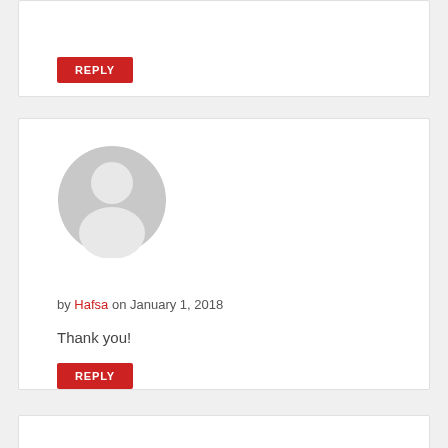[Figure (other): Reply button in red with white text on top comment card]
[Figure (other): Default grey user avatar placeholder icon]
by Hafsa on January 1, 2018
Thank you!
[Figure (other): Reply button in red with white text on mid comment card]
[Figure (other): Bottom comment card, partially visible]